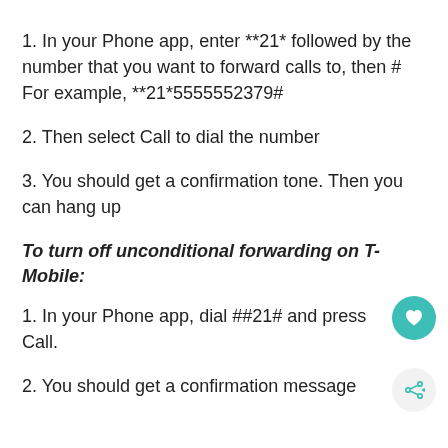1. In your Phone app, enter **21* followed by the number that you want to forward calls to, then # For example, **21*5555552379#
2. Then select Call to dial the number
3. You should get a confirmation tone. Then you can hang up
To turn off unconditional forwarding on T-Mobile:
1. In your Phone app, dial ##21# and press Call.
2. You should get a confirmation message